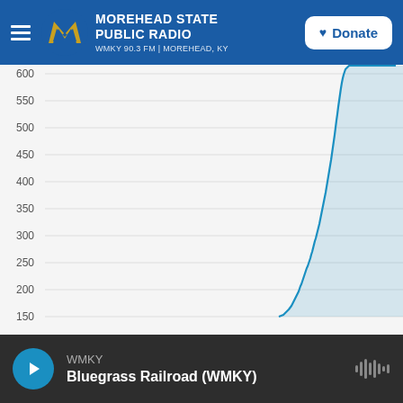Morehead State Public Radio — WMKY 90.3 FM | Morehead, KY
[Figure (continuous-plot): A cumulative growth line chart showing rapidly rising values from approximately 140 at the start of the visible data range, climbing steeply to over 600 at the right edge. The y-axis shows values labeled 150, 200, 250, 300, 350, 400, 450, 500, 550, and 600. The line is teal/blue colored and rises exponentially toward the top-right corner. Background is light gray with horizontal gridlines.]
WMKY — Bluegrass Railroad (WMKY)